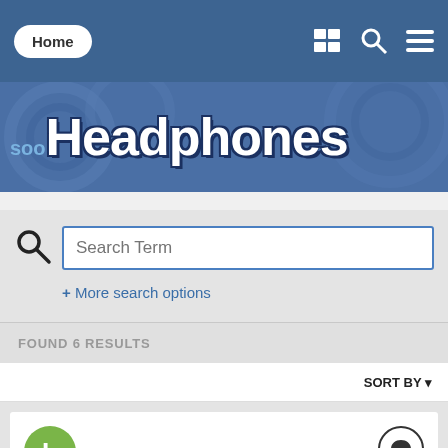Home
[Figure (logo): soo Headphones website logo on blue banner background]
Search Term
+ More search options
FOUND 6 RESULTS
SORT BY ▾
L
WTS: Hifiman HE-400 Original Edition